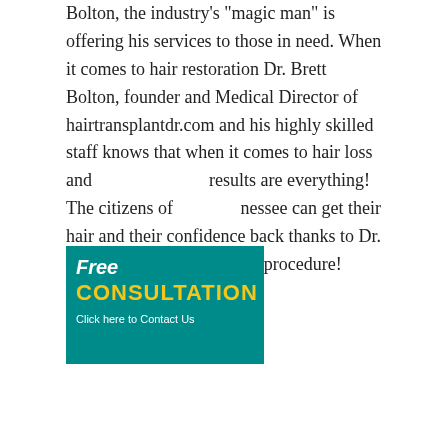Bolton, the industry's "magic man" is offering his services to those in need. When it comes to hair restoration Dr. Brett Bolton, founder and Medical Director of hairtransplantdr.com and his highly skilled staff knows that when it comes to hair loss and results are everything! The citizens of nessee can get their hair and their confidence back thanks to Dr. Brett Bolton's MaxHarvest procedure!
[Figure (other): Free Consultation - Click here to Contact Us advertisement banner with teal background and yellow text]
Hair Restoration for Blowing Springs, Tennessee
The citizens of Blowing Springs, Tennessee in Anderson County now can get the benefits of the best hair restoration doctor, Dr. Brett Bolton, the industry's "magic man" and his revolutionary MaxHarvest procedure that gives the patient optimal